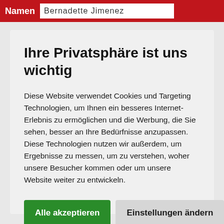Namen  Bernadette Jimenez
Ihre Privatsphäre ist uns wichtig
Diese Website verwendet Cookies und Targeting Technologien, um Ihnen ein besseres Internet-Erlebnis zu ermöglichen und die Werbung, die Sie sehen, besser an Ihre Bedürfnisse anzupassen. Diese Technologien nutzen wir außerdem, um Ergebnisse zu messen, um zu verstehen, woher unsere Besucher kommen oder um unsere Website weiter zu entwickeln.
Alle akzeptieren
Einstellungen ändern